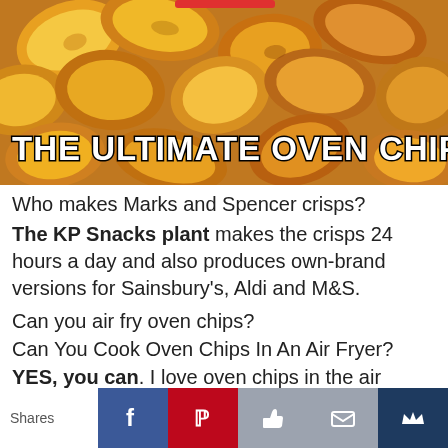[Figure (photo): Close-up photo of golden oven chips with text overlay 'THE ULTIMATE OVEN CHIPS' in white bold letters with dark outline]
Who makes Marks and Spencer crisps?
The KP Snacks plant makes the crisps 24 hours a day and also produces own-brand versions for Sainsbury's, Aldi and M&amp;S.
Can you air fry oven chips?
Can You Cook Oven Chips In An Air Fryer?
YES, you can. I love oven chips in the air
Shares [Facebook] [Pinterest] [Like] [Email] [Crown]